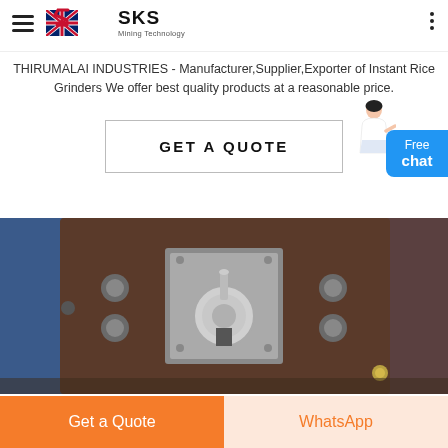SKS Mining Technology
THIRUMALAI INDUSTRIES - Manufacturer,Supplier,Exporter of Instant Rice Grinders We offer best quality products at a reasonable price.
GET A QUOTE
[Figure (photo): Close-up photo of industrial rice grinder machinery showing metal components, bolts, and a central threaded shaft with a disc.]
Get a Quote
WhatsApp